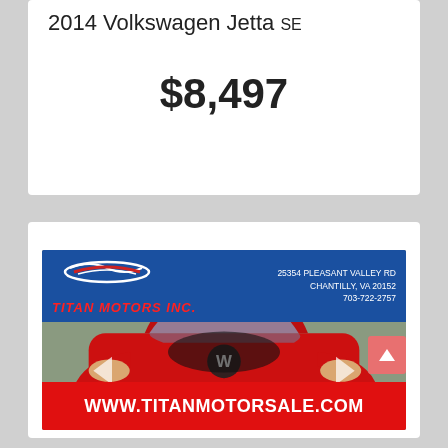2014 Volkswagen Jetta SE
$8,497
[Figure (photo): Dealer listing photo of a red 2014 Volkswagen Jetta SE at Titan Motors Inc. The photo shows the car from the front, parked in a lot. The dealer banner at the top reads 'TITAN MOTORS INC.' with address '25354 Pleasant Valley Rd, Chantilly, VA 20152, 703-722-2757'. The footer banner reads 'WWW.TITANMOTORSALE.COM'.]